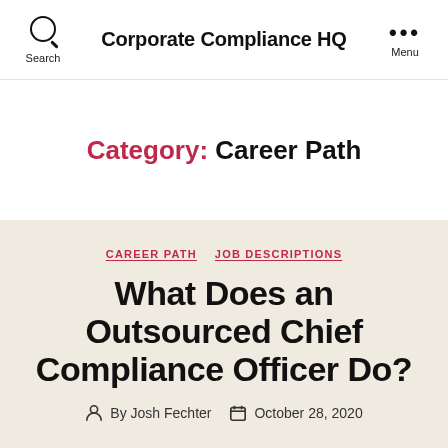Corporate Compliance HQ
Category: Career Path
CAREER PATH  JOB DESCRIPTIONS
What Does an Outsourced Chief Compliance Officer Do?
By Josh Fechter  October 28, 2020